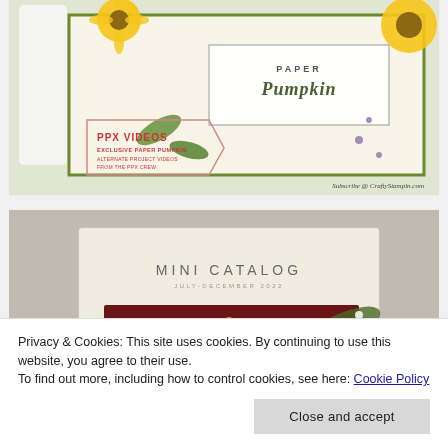[Figure (photo): Photo of a Paper Pumpkin subscription box decorated with sunflowers and botanical illustration. A hexagonal badge overlay reads 'PPX VIDEOS - Exclusive Paper Pumpkin Alternate Project Videos From The PPX Crew'. Bottom right watermark reads 'Subscribe @ CraftyStampin.com'.]
[Figure (photo): Photo of a Stampin' Up! Mini Catalog July-December 2022 catalog cover, partially visible, with a Christmas card design showing red background with gold star ornaments and greenery.]
Privacy & Cookies: This site uses cookies. By continuing to use this website, you agree to their use.
To find out more, including how to control cookies, see here: Cookie Policy
Close and accept